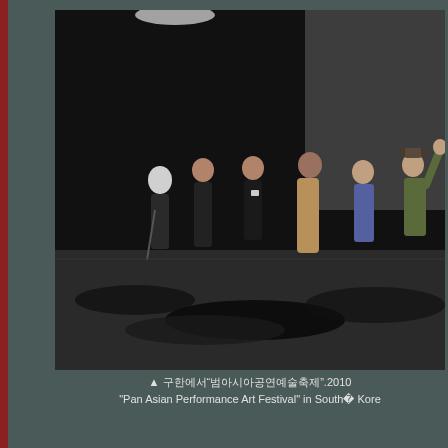[Figure (photo): Performance art event photo showing six people on a dark stage with scattered black material on the floor. Performers include figures in dark clothing, a person in a long tan coat, an older person in blue, and another raising their arm. Dark curtained background with overhead lighting.]
▲ 한국남한에서"범아시아공연예술축제"2010 "Pan Asian Performance Art Festival" in South� Korea